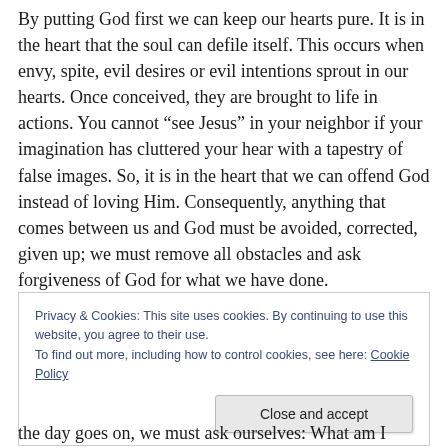By putting God first we can keep our hearts pure. It is in the heart that the soul can defile itself. This occurs when envy, spite, evil desires or evil intentions sprout in our hearts. Once conceived, they are brought to life in actions. You cannot “see Jesus” in your neighbor if your imagination has cluttered your hear with a tapestry of false images. So, it is in the heart that we can offend God instead of loving Him. Consequently, anything that comes between us and God must be avoided, corrected, given up; we must remove all obstacles and ask forgiveness of God for what we have done.
Privacy & Cookies: This site uses cookies. By continuing to use this website, you agree to their use.
To find out more, including how to control cookies, see here: Cookie Policy
the day goes on, we must ask ourselves: What am I